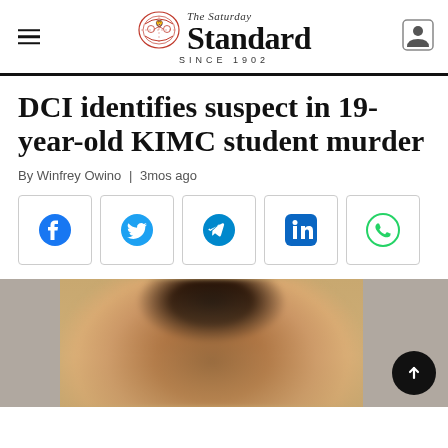The Saturday Standard SINCE 1902
DCI identifies suspect in 19-year-old KIMC student murder
By Winfrey Owino | 3mos ago
[Figure (infographic): Social media share buttons: Facebook, Twitter, Telegram, LinkedIn, WhatsApp]
[Figure (photo): Blurred portrait photo of a person, showing face and upper body, displayed as a slideshow with grey panels on left and right sides. A scroll-to-top button appears in the lower right.]